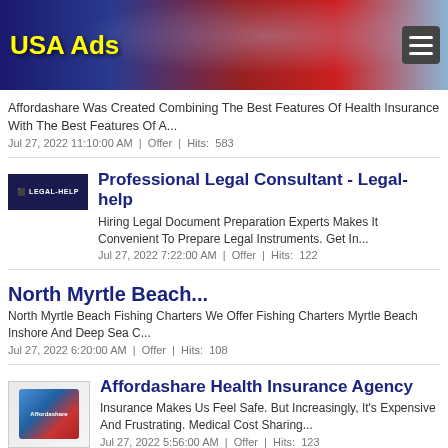[Figure (illustration): USA Ads website header banner with eagle and American flag imagery, yellow site title 'USA Ads', and hamburger menu icon]
Affordashare Was Created Combining The Best Features Of Health Insurance With The Best Features Of A...
Jul 27, 2022 11:10:00 AM | Offer | Hits: 583
Professional Legal Consultant - Legal-help
Hiring Legal Document Preparation Experts Makes It Convenient To Prepare Legal Instruments. Get In...
Jul 27, 2022 7:22:00 AM | Offer | Hits: 122
North Myrtle Beach...
North Myrtle Beach Fishing Charters We Offer Fishing Charters Myrtle Beach Inshore And Deep Sea C...
Jul 27, 2022 6:20:00 AM | Offer | Hits: 108
Affordashare Health Insurance Agency
Insurance Makes Us Feel Safe. But Increasingly, It's Expensive And Frustrating. Medical Cost Sharing...
Jul 27, 2022 5:56:00 AM | Offer | Hits: 123
Wine History Tours